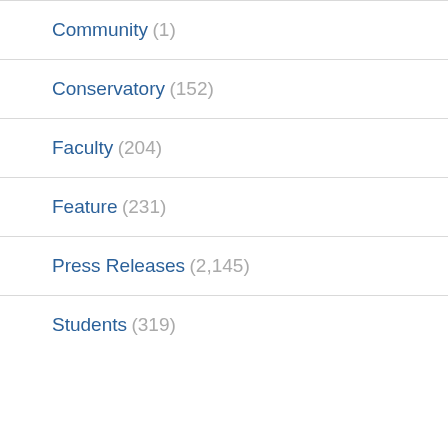Community (1)
Conservatory (152)
Faculty (204)
Feature (231)
Press Releases (2,145)
Students (319)